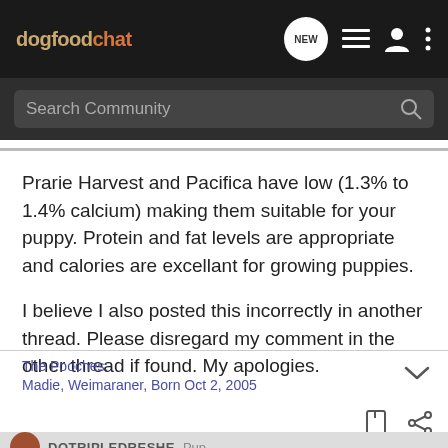dogfoodchat — navigation bar with NEW, list, profile, and more icons, and a Search Community search bar
Prarie Harvest and Pacifica have low (1.3% to 1.4% calcium) making them suitable for your puppy. Protein and fat levels are appropriate and calories are excellant for growing puppies.
I believe I also posted this incorrectly in another thread. Please disregard my comment in the other thread if found. My apologies.
The Pooches:
Madie, Weimaraner, Born Oct 2, 2005
DOTRIPLEDRESHE — next post avatar bar